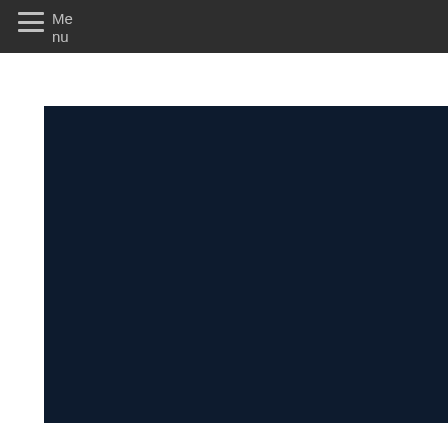Menu
[Figure (screenshot): Dark navy blue content area, appears to be a mobile website or app screenshot with a dark navigation bar at top containing a hamburger menu icon and 'Menu' text, and a large dark navy blue main content area below.]